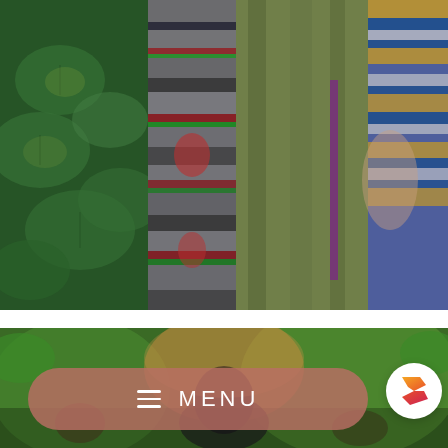[Figure (photo): Close-up photograph of colorful traditional textile fabrics/garments: dark green leaf-patterned fabric on left, striped metallic fabric in center, olive green draped fabric, and multicolored striped fabric on the right.]
[Figure (photo): Lower portion showing a crowd scene with green background tones and a person with dark hair visible.]
[Figure (logo): Round white circle containing a stylized S logo with orange and pink/red gradient colors.]
MENU